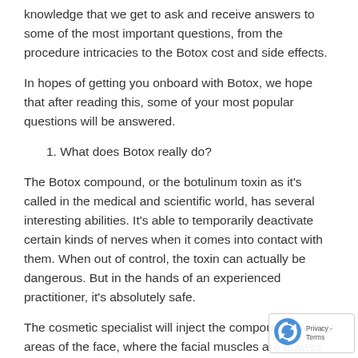knowledge that we get to ask and receive answers to some of the most important questions, from the procedure intricacies to the Botox cost and side effects.
In hopes of getting you onboard with Botox, we hope that after reading this, some of your most popular questions will be answered.
1. What does Botox really do?
The Botox compound, or the botulinum toxin as it's called in the medical and scientific world, has several interesting abilities. It's able to temporarily deactivate certain kinds of nerves when it comes into contact with them. When out of control, the toxin can actually be dangerous. But in the hands of an experienced practitioner, it's absolutely safe.
The cosmetic specialist will inject the compound into key areas of the face, where the facial muscles are always tense. It's this tension that causes wrinkles to build up on